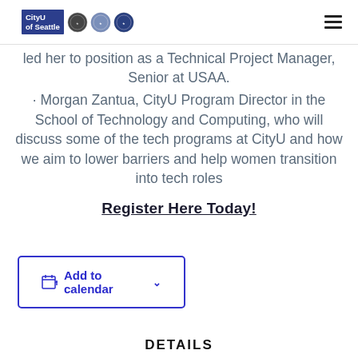CityU of Seattle [logo bar with government seals] [hamburger menu]
led her to position as a Technical Project Manager, Senior at USAA.
• Morgan Zantua, CityU Program Director in the School of Technology and Computing, who will discuss some of the tech programs at CityU and how we aim to lower barriers and help women transition into tech roles
Register Here Today!
[Figure (other): Add to calendar button with calendar icon and dropdown arrow, blue border]
DETAILS